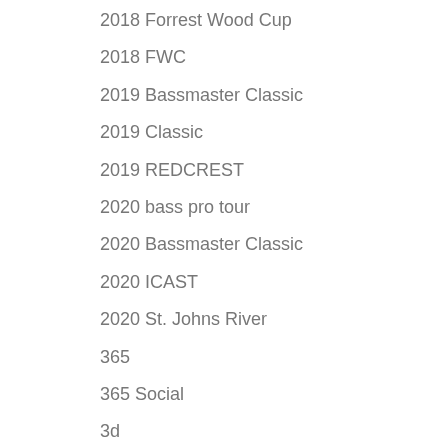2018 Forrest Wood Cup
2018 FWC
2019 Bassmaster Classic
2019 Classic
2019 REDCREST
2020 bass pro tour
2020 Bassmaster Classic
2020 ICAST
2020 St. Johns River
365
365 Social
3d